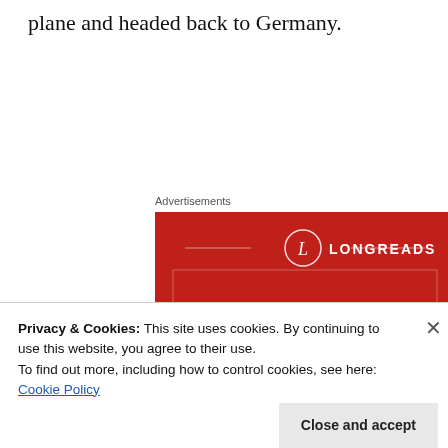plane and headed back to Germany.
Advertisements
[Figure (other): Longreads advertisement banner on red background with text 'The best stories on the web – ours, and everyone else's.' and a 'Start reading' button.]
Privacy & Cookies: This site uses cookies. By continuing to use this website, you agree to their use.
To find out more, including how to control cookies, see here: Cookie Policy